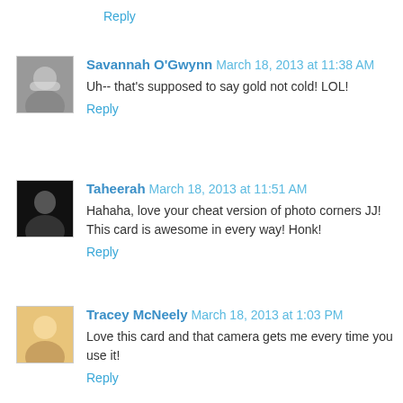Reply
[Figure (photo): Avatar photo of Savannah O'Gwynn]
Savannah O'Gwynn March 18, 2013 at 11:38 AM
Uh-- that's supposed to say gold not cold! LOL!
Reply
[Figure (photo): Avatar photo of Taheerah]
Taheerah March 18, 2013 at 11:51 AM
Hahaha, love your cheat version of photo corners JJ! This card is awesome in every way! Honk!
Reply
[Figure (photo): Avatar photo of Tracey McNeely]
Tracey McNeely March 18, 2013 at 1:03 PM
Love this card and that camera gets me every time you use it!
Reply